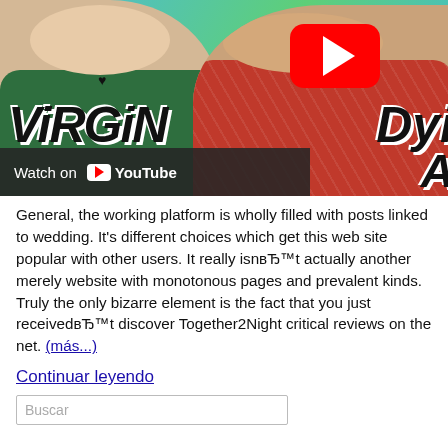[Figure (screenshot): YouTube video thumbnail showing two people holding signs reading 'VIRGIN' and 'Dyi A...' with a red YouTube play button overlay and 'Watch on YouTube' bar at the bottom left.]
General, the working platform is wholly filled with posts linked to wedding. It's different choices which get this web site popular with other users. It really isnвЂ™t actually another merely website with monotonous pages and prevalent kinds. Truly the only bizarre element is the fact that you just receivedвЂ™t discover Together2Night critical reviews on the net. (más...)
Continuar leyendo
Buscar